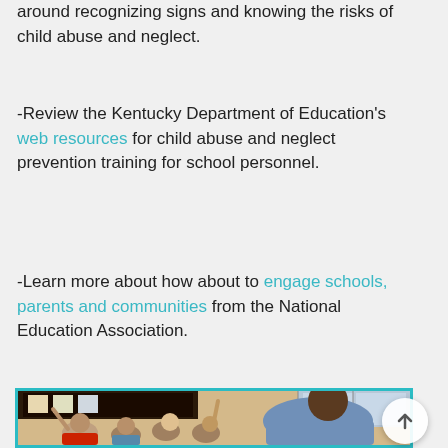around recognizing signs and knowing the risks of child abuse and neglect.
-Review the Kentucky Department of Education's web resources for child abuse and neglect prevention training for school personnel.
-Learn more about how about to engage schools, parents and communities from the National Education Association.
[Figure (photo): A classroom photo showing a male teacher interacting with a group of elementary school children who have their hands raised. The image has a teal border.]